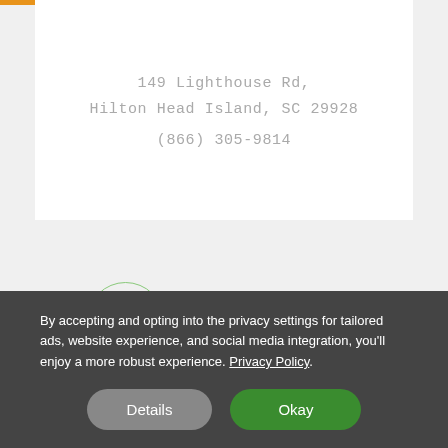149 Lighthouse Rd,
Hilton Head Island, SC 29928
(866) 305-9814
[Figure (infographic): Social sharing icons: a hand clap icon in a green circle outline, a Facebook 'f' icon, a Twitter bird icon, and a Pinterest 'P' icon, all in grey.]
You might also like these
By accepting and opting into the privacy settings for tailored ads, website experience, and social media integration, you'll enjoy a more robust experience. Privacy Policy
Details
Okay